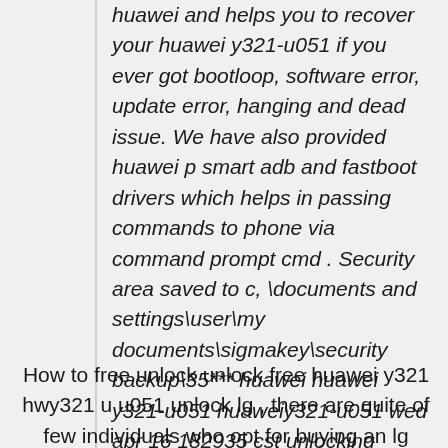huawei and helps you to recover your huawei y321-u051 if you ever got bootloop, software error, update error, hanging and dead issue. We have also provided huawei p smart adb and fastboot drivers which helps in passing commands to phone via command prompt cmd . Security area saved to c, \documents and settings\user\my documents\sigmakey\security backup\35*** huawei huawei y321-u051 huaweiy321-u051 wed apr 16 182935 cst unlocking phone.
How to free unlock unlock free huawei y321 hwy321 u u051 unlock lg , there are quite of few individuals who opt for buying an lg mobile phone and then